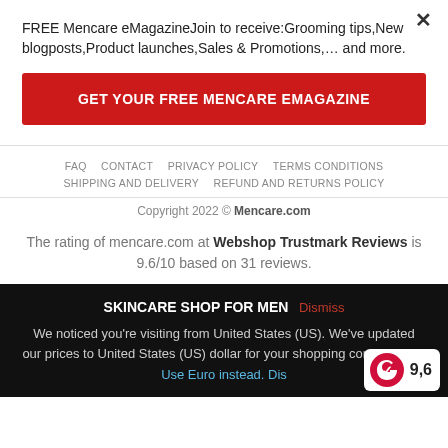FREE Mencare eMagazineJoin to receive:Grooming tips,New blogposts,Product launches,Sales & Promotions,… and more.
GET YOUR FREE MENCARE eMAGAZINE
FAQ  CONTACT  PRIVACY POLICY  TERMS CONDITIONS  SHIPPING AND DELIVERY  REFUND AND RETURNS POLICY
Copyright 2022 © Mencare.com
The rating of mencare.com at Webshop Trustmark Reviews is 9.6/10 based on 31 reviews.
SKINCARE SHOP FOR MEN
We noticed you're visiting from United States (US). We've updated our prices to United States (US) dollar for your shopping convenience. Use Euro instead. Dis…